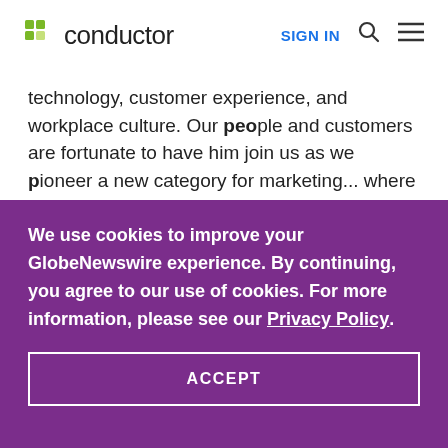conductor | SIGN IN
technology, customer experience, and workplace culture. Our people and customers are fortunate to have him join us as we pioneer a new category for marketing... where marketing isn't just about
We use cookies to improve your GlobeNewswire experience. By continuing, you agree to our use of cookies. For more information, please see our Privacy Policy.
ACCEPT